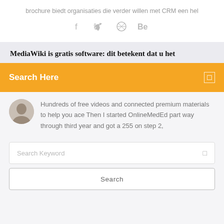brochure biedt organisaties die verder willen met CRM een hel
[Figure (infographic): Social media icons: Facebook (f), Twitter bird, Dribbble, Behance (Be)]
MediaWiki is gratis software: dit betekent dat u het
Search Here
Hundreds of free videos and connected premium materials to help you ace Then I started OnlineMedEd part way through third year and got a 255 on step 2,
Search Keyword
Search